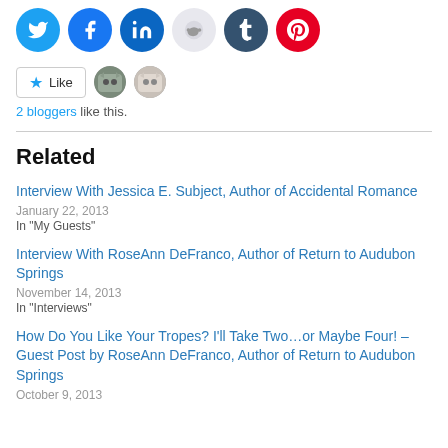[Figure (other): Row of social media sharing icons: Twitter (blue), Facebook (blue), LinkedIn (blue), Reddit (light grey), Tumblr (dark navy), Pinterest (red)]
[Figure (other): WordPress Like button with star icon and two blogger avatar thumbnails (cat photos)]
2 bloggers like this.
Related
Interview With Jessica E. Subject, Author of Accidental Romance
January 22, 2013
In "My Guests"
Interview With RoseAnn DeFranco, Author of Return to Audubon Springs
November 14, 2013
In "Interviews"
How Do You Like Your Tropes? I'll Take Two…or Maybe Four! – Guest Post by RoseAnn DeFranco, Author of Return to Audubon Springs
October 9, 2013